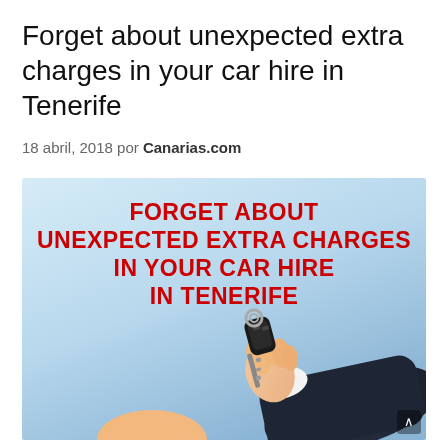Forget about unexpected extra charges in your car hire in Tenerife
18 abril, 2018 por Canarias.com
[Figure (photo): Promotional banner image with red bold text reading 'FORGET ABOUT UNEXPECTED EXTRA CHARGES IN YOUR CAR HIRE IN TENERIFE' on a light blue background, with a hand in a dark suit jacket holding a car key in the lower right portion of the image.]